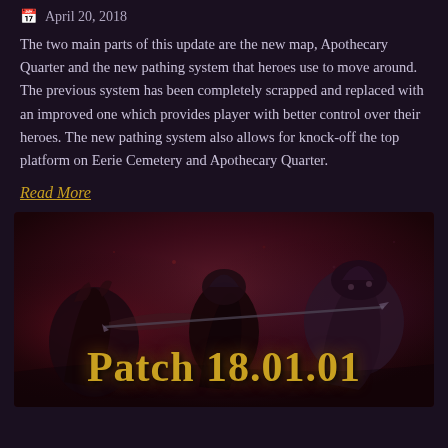April 20, 2018
The two main parts of this update are the new map, Apothecary Quarter and the new pathing system that heroes use to move around. The previous system has been completely scrapped and replaced with an improved one which provides player with better control over their heroes. The new pathing system also allows for knock-off the top platform on Eerie Cemetery and Apothecary Quarter.
Read More
[Figure (photo): Game screenshot showing fantasy characters fighting, with 'Patch 18.01.01' text overlay in golden font at the bottom of the image.]